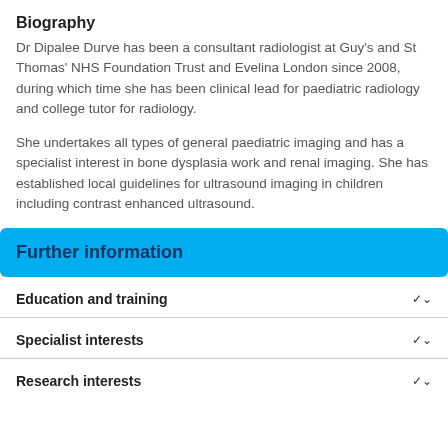Biography
Dr Dipalee Durve has been a consultant radiologist at Guy's and St Thomas' NHS Foundation Trust and Evelina London since 2008, during which time she has been clinical lead for paediatric radiology and college tutor for radiology.
She undertakes all types of general paediatric imaging and has a specialist interest in bone dysplasia work and renal imaging. She has established local guidelines for ultrasound imaging in children including contrast enhanced ultrasound.
Further information
Education and training
Specialist interests
Research interests